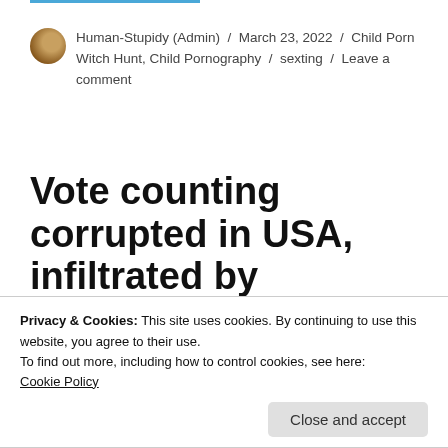Human-Stupidy (Admin) / March 23, 2022 / Child Porn Witch Hunt, Child Pornography / sexting / Leave a comment
Vote counting corrupted in USA, infiltrated by dishonest leftist activists
ballots. This must be exposed, opposed,
Privacy & Cookies: This site uses cookies. By continuing to use this website, you agree to their use.
To find out more, including how to control cookies, see here:
Cookie Policy
Close and accept